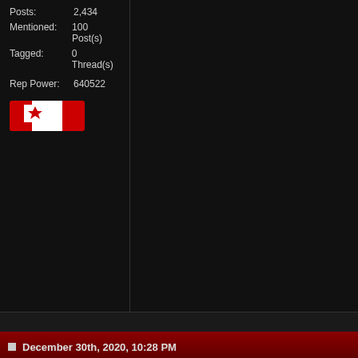Posts: 2,434
Mentioned: 100 Post(s)
Tagged: 0 Thread(s)
Rep Power: 640522
[Figure (illustration): Canada .CA badge with maple leaf and red/white flag design]
December 30th, 2020, 10:28 PM
Honey_Badger
Main Eventer
Join Date: Jan 2013
Location: Searching for The Law
Posts: 5,218
Mentioned: 82 Post(s)
Tagged: 0 Thread(s)
Rep Power: 117438
Ahhh... Ole' Bundy never gets o